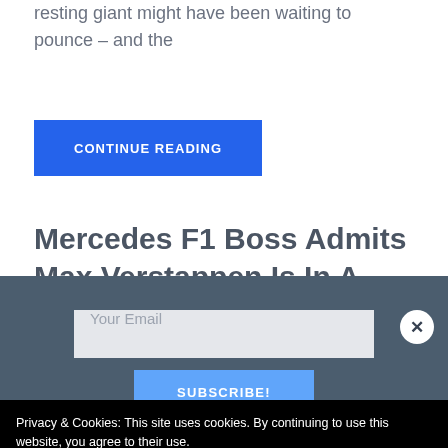resting giant might have been waiting to pounce – and the
[Figure (other): Blue 'CONTINUE READING' button]
Mercedes F1 Boss Admits Max Verstappen Is In A League Of His Own
August 31, 2022
Privacy & Cookies: This site uses cookies. By continuing to use this website, you agree to their use.
Your Email
SUBSCRIBE!